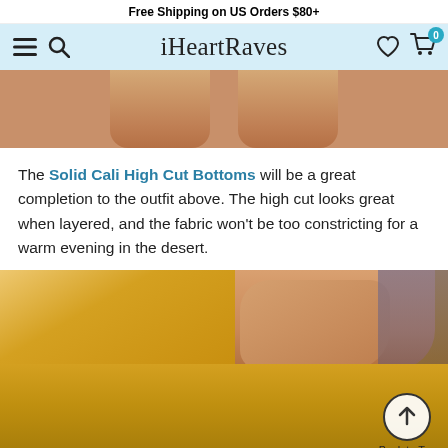Free Shipping on US Orders $80+
[Figure (screenshot): iHeartRaves website navigation bar with hamburger menu, search icon, logo, heart/wishlist icon, and shopping cart with badge showing 0]
[Figure (photo): Close-up photo of two legs wearing high cut bottoms, showing skin-toned thighs against white background]
The Solid Cali High Cut Bottoms will be a great completion to the outfit above. The high cut looks great when layered, and the fabric won't be too constricting for a warm evening in the desert.
[Figure (photo): Close-up photo of model wearing gold metallic high cut bottoms with hand on hip, sparkly outfit top partially visible]